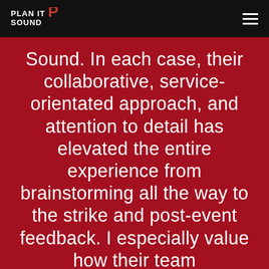PLAN IT SOUND
Sound. In each case, their collaborative, service-orientated approach, and attention to detail has elevated the entire experience from brainstorming all the way to the strike and post-event feedback. I especially value how their team